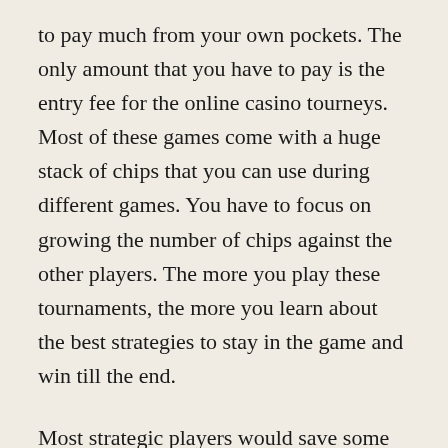to pay much from your own pockets. The only amount that you have to pay is the entry fee for the online casino tourneys. Most of these games come with a huge stack of chips that you can use during different games. You have to focus on growing the number of chips against the other players. The more you play these tournaments, the more you learn about the best strategies to stay in the game and win till the end.
Most strategic players would save some time while playing so that they can make their moves when the tournament is at its end as that is the time when the stakes are their peaking best. Some of the popular slot tournaments that you can enjoy are available at the Jackpot City Casino and the Players Ratings of...